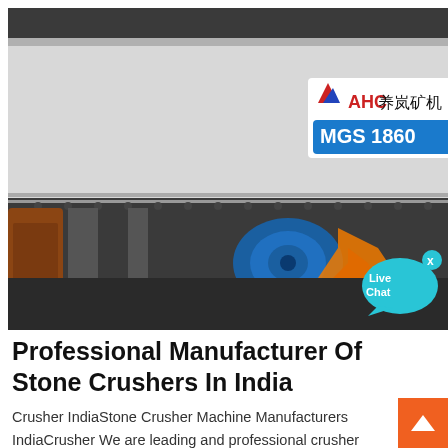[Figure (photo): Industrial mining/crushing machine labeled AHC MGS 1860 with blue motor and orange logo visible, photographed in a factory setting]
[Figure (illustration): Live Chat button — a teal speech bubble icon with text 'Live Chat' and a small x marker]
Professional Manufacturer Of Stone Crushers In India
Crusher IndiaStone Crusher Machine Manufacturers IndiaCrusher We are leading and professional crusher manufacturer in the world. Details. Turkey Stone Crushers From China Manufacturer. 2020-5-10Turkey Stone Crushers From China Manufacturer. Great wall heavy industry is a